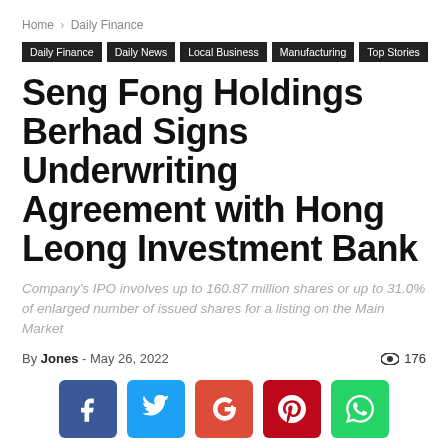Home › Daily Finance
Daily Finance | Daily News | Local Business | Manufacturing | Top Stories
Seng Fong Holdings Berhad Signs Underwriting Agreement with Hong Leong Investment Bank
Company's IPO involves up to 160.87 million shares or up to 31.0% of enlarged number of issued shares for a listing on the Main Market
By Jones - May 26, 2022  176
[Figure (infographic): Social share buttons: Facebook (blue), Twitter (cyan), Google+ (red-orange), Pinterest (dark red), WhatsApp (green)]